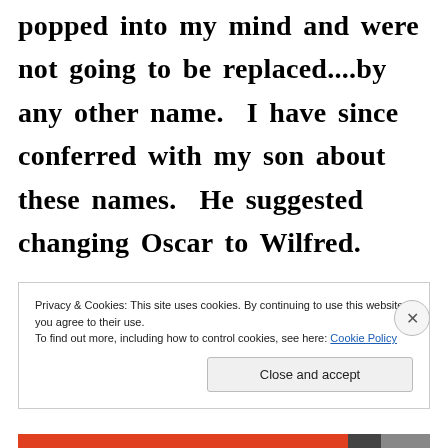popped into my mind and were not going to be replaced....by any other name.  I have since conferred with my son about these names.  He suggested changing Oscar to Wilfred.
Privacy & Cookies: This site uses cookies. By continuing to use this website, you agree to their use.
To find out more, including how to control cookies, see here: Cookie Policy